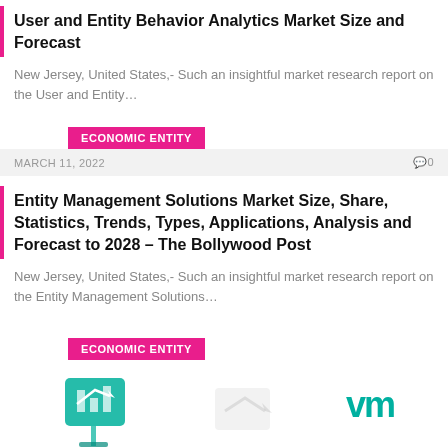User and Entity Behavior Analytics Market Size and Forecast
New Jersey, United States,- Such an insightful market research report on the User and Entity…
ECONOMIC ENTITY
MARCH 11, 2022   0
Entity Management Solutions Market Size, Share, Statistics, Trends, Types, Applications, Analysis and Forecast to 2028 – The Bollywood Post
New Jersey, United States,- Such an insightful market research report on the Entity Management Solutions…
ECONOMIC ENTITY
[Figure (illustration): Teal colored graphic illustration on left, faded arrow/document in center, VMware logo (vm) in teal on the right]